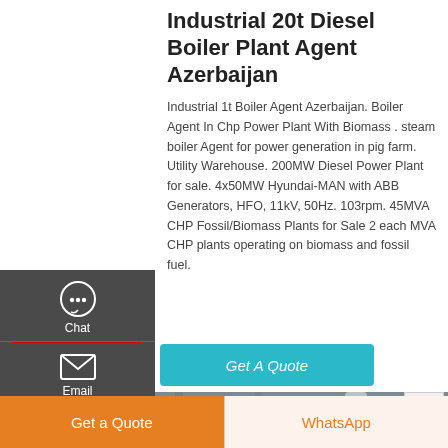Industrial 20t Diesel Boiler Plant Agent Azerbaijan
Industrial 1t Boiler Agent Azerbaijan. Boiler Agent In Chp Power Plant With Biomass . steam boiler Agent for power generation in pig farm. Utility Warehouse. 200MW Diesel Power Plant for sale. 4x50MW Hyundai-MAN with ABB Generators, HFO, 11kV, 50Hz. 103rpm. 45MVA CHP Fossil/Biomass Plants for Sale 2 each MVA CHP plants operating on biomass and fossil fuel.
[Figure (other): Get A Quote button in teal/cyan color]
[Figure (photo): Industrial diesel boiler plant interior showing large blue boiler vessels, yellow and red pipes, gauges, and industrial equipment in a warehouse setting]
Get a Quote
WhatsApp